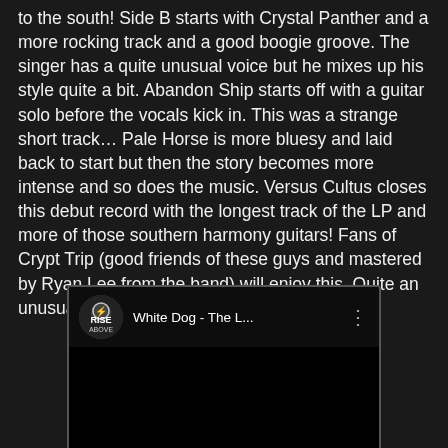to the south!  Side B starts with Crystal Panther and a more rocking track and a good boogie groove. The singer has a quite unusual voice but he mixes up his style quite a bit. Abandon Ship starts off with a guitar solo before the vocals kick in.  This was a strange short track…  Pale Horse is more bluesy and laid back to start but then the story becomes more intense and so does the music.  Versus Cultus closes this debut record with the longest track of the LP and more of those southern harmony guitars!  Fans of Crypt Trip (good friends of these guys and mastered by Ryan Lee from the band) will enjoy this. Quite an unusual choice for Rise Above to release.
[Figure (screenshot): YouTube video embed showing 'White Dog - The L...' with a Rise Above Records channel icon and black video thumbnail area]